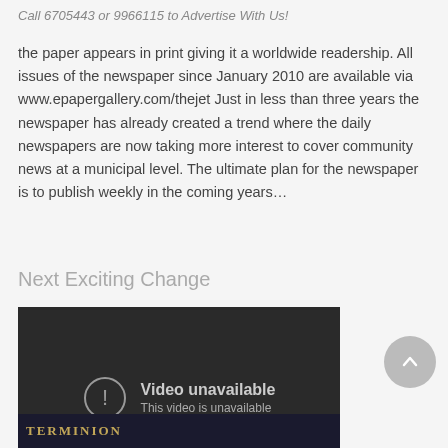Call 6705443 or 9966115 to Advertise With Us!
the paper appears in print giving it a worldwide readership. All issues of the newspaper since January 2010 are available via www.epapergallery.com/thejet Just in less than three years the newspaper has already created a trend where the daily newspapers are now taking more interest to cover community news at a municipal level. The ultimate plan for the newspaper is to publish weekly in the coming years…
Next Exciting Change
[Figure (screenshot): Embedded video player showing 'Video unavailable - This video is unavailable' message on a dark background with a play button icon in the bottom right corner.]
[Figure (photo): Partial bottom image showing text that appears to read 'TERMINION' or similar in gold/yellow letters on a dark background.]